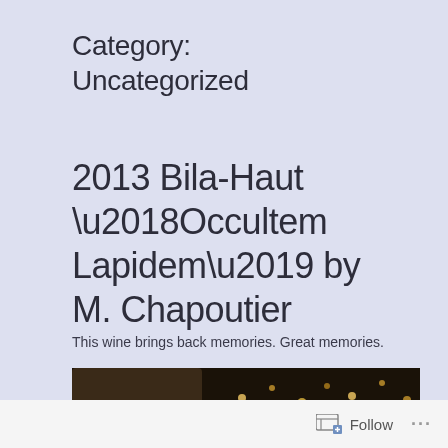Category: Uncategorized
2013 Bila-Haut ‘Occultem Lapidem’ by M. Chapoutier
This wine brings back memories. Great memories.
[Figure (photo): A dark photograph showing what appears to be a wine bottle and holiday lights in the background.]
Follow ...